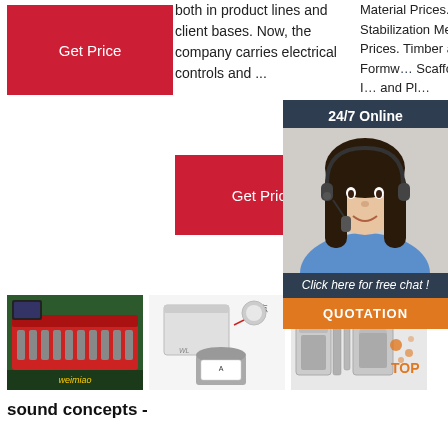[Figure (photo): Red Get Price button in column 1]
both in product lines and client bases. Now, the company carries electrical controls and ...
Material Prices. Slope Stabilization Mesh System Prices. Timber and Metal Formw... Scaffo... Price I... and Pl...
[Figure (photo): 24/7 Online chat overlay with customer service agent photo and QUOTATION button]
[Figure (photo): Industrial cutting machine on green surface]
[Figure (photo): Adhesive product with box and bucket, Chinese text]
[Figure (photo): Industrial machine equipment with TOP logo]
sound concepts -